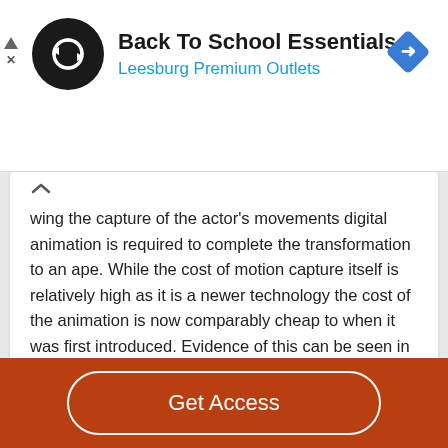[Figure (logo): Ad banner: Back To School Essentials at Leesburg Premium Outlets with circular logo and blue diamond icon]
wing the capture of the actor's movements digital animation is required to complete the transformation to an ape. While the cost of motion capture itself is relatively high as it is a newer technology the cost of the animation is now comparably cheap to when it was first introduced. Evidence of this can be seen in the technologies convergence in television. Here the budget…
Read More
Get Access